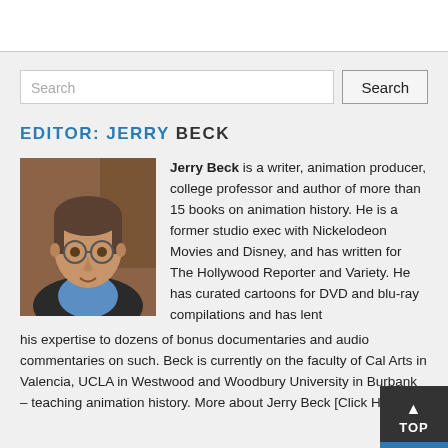[Figure (other): Search bar with text input and Search button]
EDITOR: JERRY BECK
[Figure (photo): Headshot of Jerry Beck, a middle-aged man with glasses and gray-brown hair wearing a dark jacket and blue shirt]
Jerry Beck is a writer, animation producer, college professor and author of more than 15 books on animation history. He is a former studio exec with Nickelodeon Movies and Disney, and has written for The Hollywood Reporter and Variety. He has curated cartoons for DVD and blu-ray compilations and has lent his expertise to dozens of bonus documentaries and audio commentaries on such. Beck is currently on the faculty of Cal Arts in Valencia, UCLA in Westwood and Woodbury University in Burbank – teaching animation history. More about Jerry Beck [Click Here]